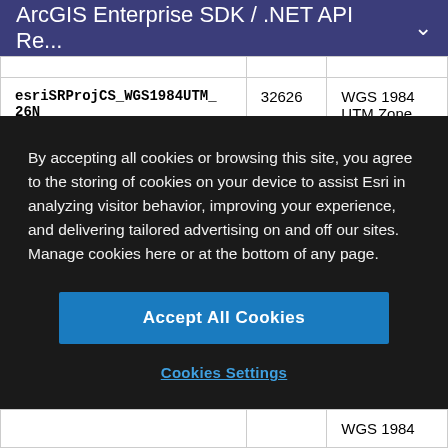ArcGIS Enterprise SDK / .NET API Re...
|  |  |  |
| --- | --- | --- |
| esriSRProjCS_WGS1984UTM_26N | 32626 | WGS 1984 UTM Zone |
By accepting all cookies or browsing this site, you agree to the storing of cookies on your device to assist Esri in analyzing visitor behavior, improving your experience, and delivering tailored advertising on and off our sites. Manage cookies here or at the bottom of any page.
Accept All Cookies
Cookies Settings
|  |  |  |
| --- | --- | --- |
|  |  | WGS 1984 |